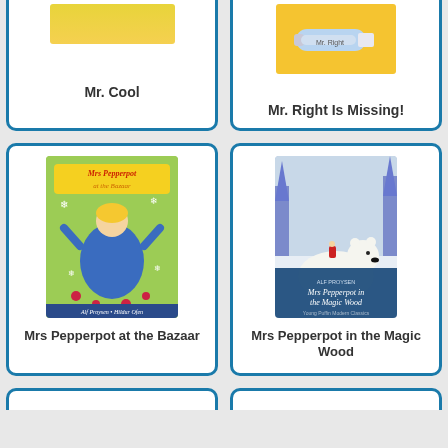[Figure (illustration): Book cover for Mr. Cool, partially cropped at top, showing colorful illustration]
Mr. Cool
[Figure (illustration): Book cover for Mr. Right Is Missing!, partially cropped at top, yellow background with crayon/marker image]
Mr. Right Is Missing!
[Figure (illustration): Book cover for Mrs Pepperpot at the Bazaar, showing Mrs Pepperpot character in blue dress surrounded by snowflakes and roses, green background, by Alf Proysen and Hilde Ofen]
Mrs Pepperpot at the Bazaar
[Figure (illustration): Book cover for Mrs Pepperpot in the Magic Wood, showing a polar bear in snowy forest scene, Young Puffin Modern Classics edition, by Alf Proysen]
Mrs Pepperpot in the Magic Wood